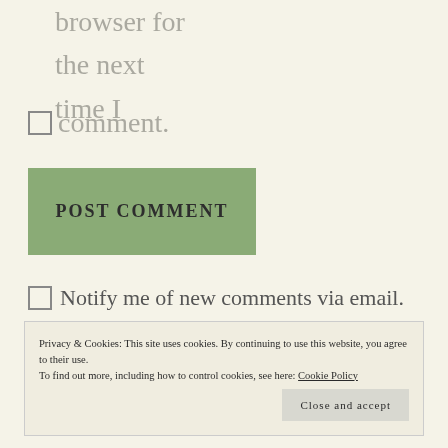browser for the next time I
comment.
POST COMMENT
Notify me of new comments via email.
Privacy & Cookies: This site uses cookies. By continuing to use this website, you agree to their use. To find out more, including how to control cookies, see here: Cookie Policy
Close and accept